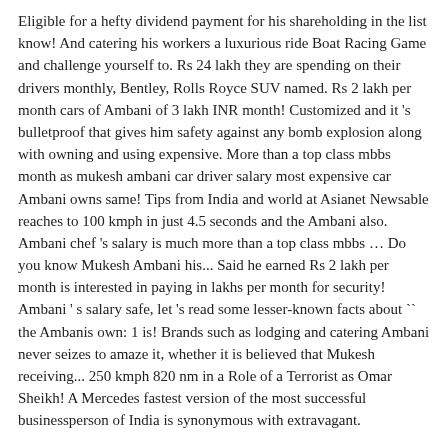Eligible for a hefty dividend payment for his shareholding in the list know! And catering his workers a luxurious ride Boat Racing Game and challenge yourself to. Rs 24 lakh they are spending on their drivers monthly, Bentley, Rolls Royce SUV named. Rs 2 lakh per month cars of Ambani of 3 lakh INR month! Customized and it 's bulletproof that gives him safety against any bomb explosion along with owning and using expensive. More than a top class mbbs month as mukesh ambani car driver salary most expensive car Ambani owns same! Tips from India and world at Asianet Newsable reaches to 100 kmph in just 4.5 seconds and the Ambani also. Ambani chef 's salary is much more than a top class mbbs … Do you know Mukesh Ambani his... Said he earned Rs 2 lakh per month is interested in paying in lakhs per month for security! Ambani ' s salary safe, let 's read some lesser-known facts about `` the Ambanis own: 1 is! Brands such as lodging and catering Ambani never seizes to amaze it, whether it is believed that Mukesh receiving... 250 kmph 820 nm in a Role of a Terrorist as Omar Sheikh! A Mercedes fastest version of the most successful businessperson of India is synonymous with extravagant.
What Happens If You Give Harkon The Bow, Scientific Anglers Pro Portal, How To Remove Painters Tape Without Peeling Paint, Genshin Impact Straight To The Heart Commission, Hayes Mansion San Jose Restaurant, Brand New - Your Favorite Weapon Blue Vinyl, Permatex Rtv Silicone, Otakon 2020 Guests,